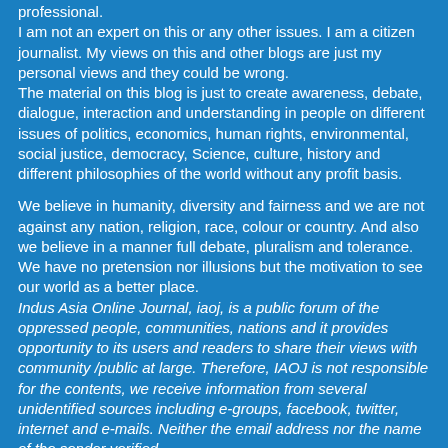professional.
I am not an expert on this or any other issues. I am a citizen journalist. My views on this and other blogs are just my personal views and they could be wrong.
The material on this blog is just to create awareness, debate, dialogue, interaction and understanding in people on different issues of politics, economics, human rights, environmental, social justice, democracy, Science, culture, history and different philosophies of the world without any profit basis.
We believe in humanity, diversity and fairness and we are not against any nation, religion, race, colour or country. And also we believe in a manner full debate, pluralism and tolerance. We have no pretension nor illusions but the motivation to see our world as a better place. Indus Asia Online Journal, iaoj, is a public forum of the oppressed people, communities, nations and it provides opportunity to its users and readers to share their views with community /public at large. Therefore, IAOJ is not responsible for the contents, we receive information from several unidentified sources including e-groups, facebook, twitter, internet and e-mails. Neither the email address nor the name of the sender verified.
Your critical feed back & courteous arguments are always welcome.
>More- click here
- Editor & Moderator IAOJ